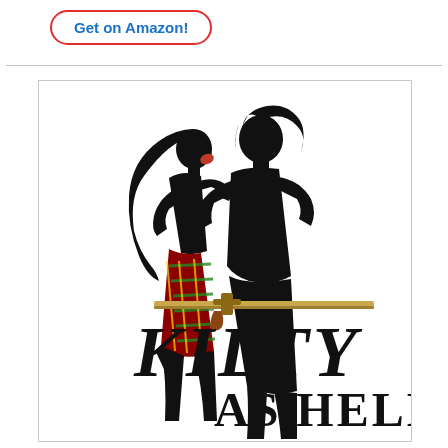Get on Amazon!
[Figure (illustration): Book cover for 'Kilty As Hell' showing two silhouetted figures (a woman with long dark hair and red hair clip wearing a plaid/tartan skirt, and a man) facing each other in a romantic pose, with bold gothic-style text reading 'KILTY AS HELL' across the lower portion of the cover]